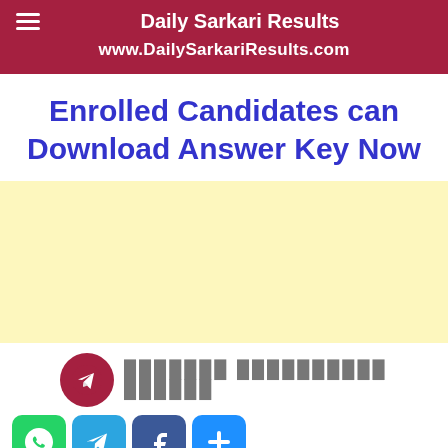Daily Sarkari Results
www.DailySarkariResults.com
Enrolled Candidates can Download Answer Key Now
[Figure (other): Yellow advertisement block placeholder]
xxxxxxx xxxxxxxxxx xxxxxx (Telegram channel text in Hindi/obscured)
[Figure (infographic): Social media share buttons: WhatsApp, Telegram, Facebook, More]